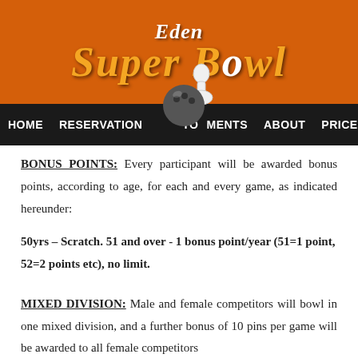[Figure (logo): Eden Super Bowl logo on orange background with bowling pin graphic]
HOME  RESERVATION  TOURNAMENTS  ABOUT  PRICE LIST  CONTACT
BONUS POINTS: Every participant will be awarded bonus points, according to age, for each and every game, as indicated hereunder:
50yrs – Scratch. 51 and over - 1 bonus point/year (51=1 point, 52=2 points etc), no limit.
MIXED DIVISION: Male and female competitors will bowl in one mixed division, and a further bonus of 10 pins per game will be awarded to all female competitors